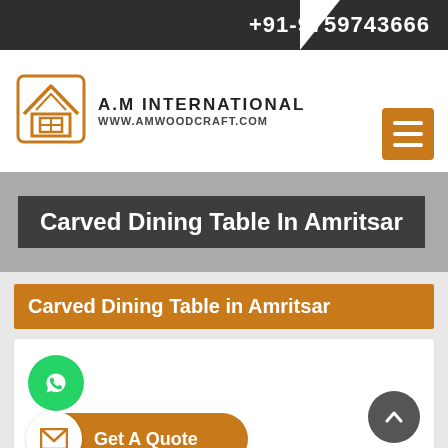+91-9759743666
[Figure (logo): A.M International logo with house icon and URL www.amwoodcraft.com]
Carved Dining Table In Amritsar
Carved Dining Table in Amritsar
[Figure (infographic): WhatsApp contact button (green circle with WhatsApp icon), scroll-up button (gray circle with upward chevron), and Get A Quote button (orange pill with envelope icon)]